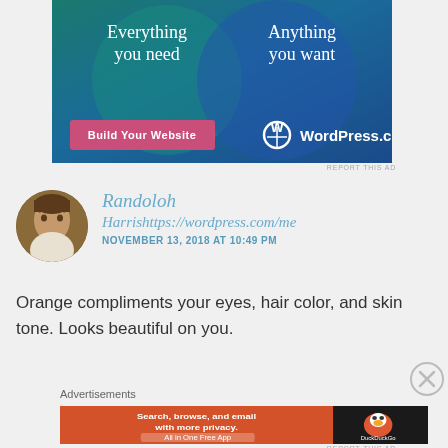[Figure (screenshot): WordPress.com advertisement banner with teal/blue gradient background, two large overlapping circles, text 'Everything you need' and 'Anything you want', pink 'Build Your Website' button, and WordPress.com logo]
REPORT THIS AD
Randoloh Harrishttps://wordpress.com/me NOVEMBER 13, 2018 AT 10:49 PM
Orange compliments your eyes, hair color, and skin tone. Looks beautiful on you.
Advertisements
[Figure (screenshot): DuckDuckGo advertisement: orange background with text 'Search, browse, and email with more privacy. All in One Free App' and DuckDuckGo logo on dark right panel]
REPORT THIS AD